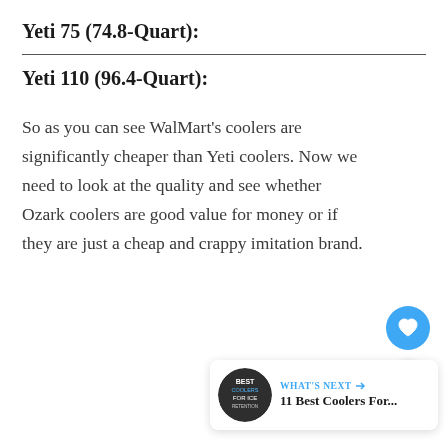Yeti 75 (74.8-Quart):
Yeti 110 (96.4-Quart):
So as you can see WalMart's coolers are significantly cheaper than Yeti coolers. Now we need to look at the quality and see whether Ozark coolers are good value for money or if they are just a cheap and crappy imitation brand.
[Figure (other): Circular blue heart/like button (favorite action button)]
[Figure (other): Circular white share button with share icon]
[Figure (other): What's Next card: thumbnail of Best Coolers For Ice Retention article with text 'WHAT'S NEXT → 11 Best Coolers For...']